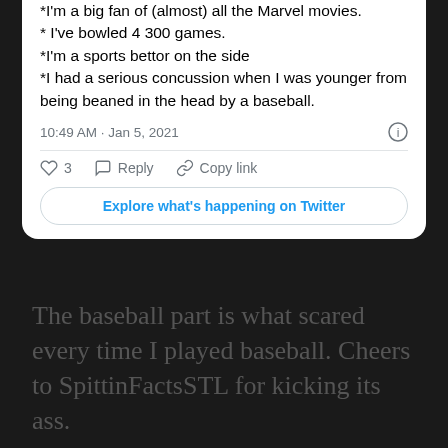*I'm a big fan of (almost) all the Marvel movies.
* I've bowled 4 300 games.
*I'm a sports bettor on the side
*I had a serious concussion when I was younger from being beaned in the head by a baseball.
10:49 AM · Jan 5, 2021
♡ 3   Reply   Copy link
Explore what's happening on Twitter
The baseball part is what scared every time I played baseball. Cheers to SpittinFactsSTL for kicking its ass.